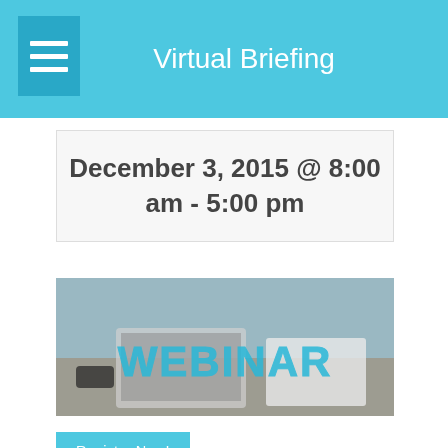Virtual Briefing
December 3, 2015 @ 8:00 am - 5:00 pm
[Figure (photo): Webinar banner image showing a laptop and notebook on a desk with large cyan 'WEBINAR' text overlaid]
Register Now!
December 10, 2015 11:00 am – 1:00 pm Central Time
Virtual Event